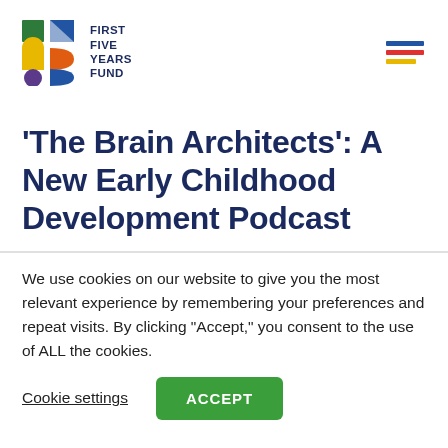[Figure (logo): First Five Years Fund logo with colorful geometric shapes (green square, blue triangle, yellow half-circle, orange D-shape, purple circle, blue D-shape) and text FIRST FIVE YEARS FUND]
[Figure (other): Hamburger menu icon with three horizontal bars: blue, red, and yellow]
'The Brain Architects': A New Early Childhood Development Podcast
We use cookies on our website to give you the most relevant experience by remembering your preferences and repeat visits. By clicking “Accept,” you consent to the use of ALL the cookies.
Cookie settings
ACCEPT